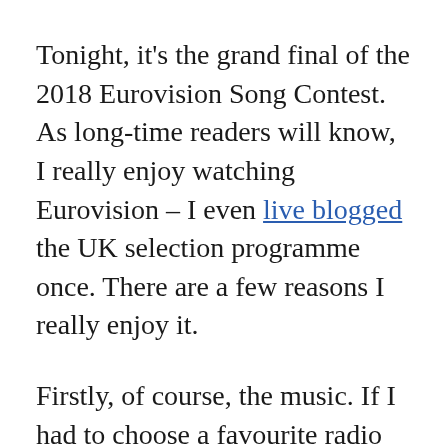Tonight, it's the grand final of the 2018 Eurovision Song Contest. As long-time readers will know, I really enjoy watching Eurovision – I even live blogged the UK selection programme once. There are a few reasons I really enjoy it.
Firstly, of course, the music. If I had to choose a favourite radio station, it would undoubtedly be Monocle 24. There's quite an overlap in the Venn diagram of international music Monocle 24 would play and the sort of music that does well at Eurovision. In fact, most years, they've already had quite a bit of air-play of the big-hitting songs by the time the contest comes